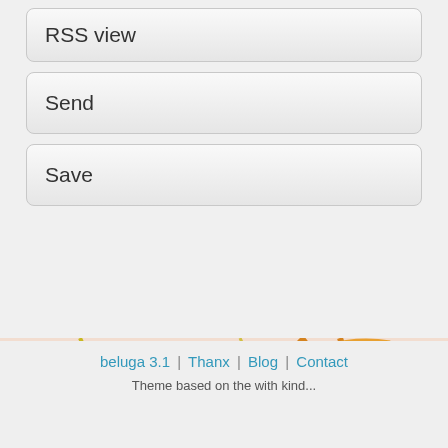RSS view
Send
Save
[Figure (illustration): Horizontal strip of a colorful map/biological illustration showing orange lines, green patches, purple areas on a light pinkish-beige background]
beluga 3.1 | Thanx | Blog | Contact